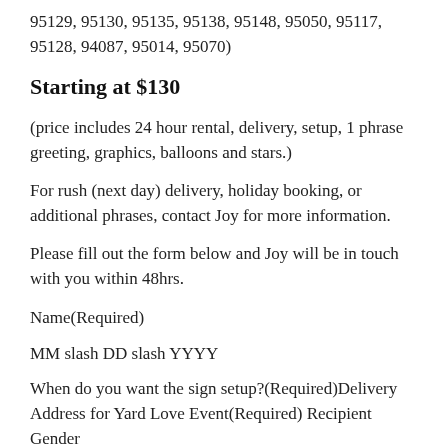95129, 95130, 95135, 95138, 95148, 95050, 95117, 95128, 94087, 95014, 95070)
Starting at $130
(price includes 24 hour rental, delivery, setup, 1 phrase greeting, graphics, balloons and stars.)
For rush (next day) delivery, holiday booking, or additional phrases, contact Joy for more information.
Please fill out the form below and Joy will be in touch with you within 48hrs.
Name(Required)
MM slash DD slash YYYY
When do you want the sign setup?(Required)Delivery Address for Yard Love Event(Required) Recipient Gender